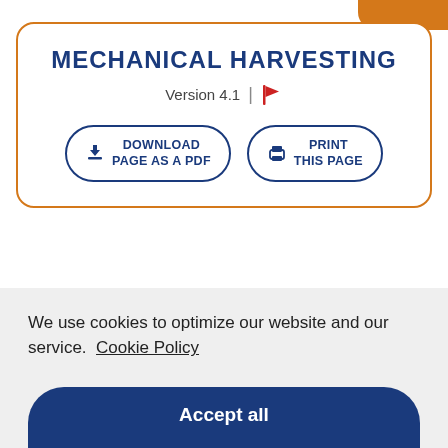MECHANICAL HARVESTING
Version 4.1
DOWNLOAD PAGE AS A PDF
PRINT THIS PAGE
We use cookies to optimize our website and our service.  Cookie Policy
Accept all